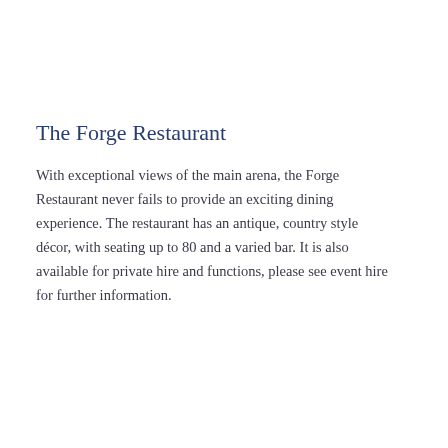The Forge Restaurant
With exceptional views of the main arena, the Forge Restaurant never fails to provide an exciting dining experience. The restaurant has an antique, country style décor, with seating up to 80 and a varied bar. It is also available for private hire and functions, please see event hire for further information.